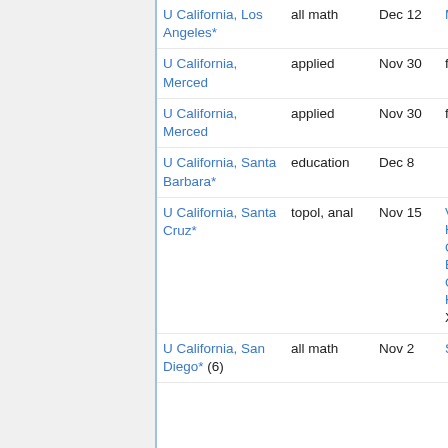| Institution | Area | Deadline | Contact |
| --- | --- | --- | --- |
| U California, Los Angeles* | all math | Dec 12 | Monica Visan |
| U California, Merced | applied | Nov 30 | frozen |
| U California, Merced | applied | Nov 30 | frozen |
| U California, Santa Barbara* | education | Dec 8 |  |
| U California, Santa Cruz* | topol, anal | Nov 15 | Vera Mikyoung Hur, Michael Goldberg, Elisenda Grigsby, Keiko Kawamuro, Xiaoyi Zhang |
| U California, San Diego* (6) | all math | Nov 2 | Sabin Cautis, |